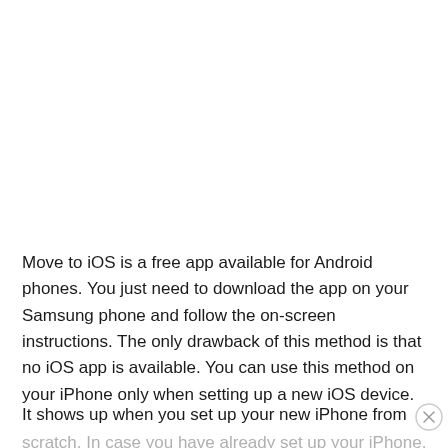Move to iOS is a free app available for Android phones. You just need to download the app on your Samsung phone and follow the on-screen instructions. The only drawback of this method is that no iOS app is available. You can use this method on your iPhone only when setting up a new iOS device.
It shows up when you set up your new iPhone from scratch. In case you have already set up your iPhone, you can either reset the iPhone or check other methods